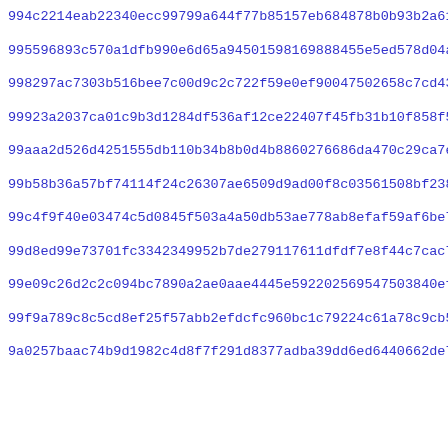994c2214eab22340ecc99799a644f77b85157eb684878b0b93b2a615689d5
995596893c570a1dfb990e6d65a94501598169888455e5ed578d04a16ec88
998297ac7303b516bee7c00d9c2c722f59e0ef90047502658c7cd43b9c92ec
99923a2037ca01c9b3d1284df536af12ce22407f45fb31b10f858f53a4029
99aaa2d526d4251555db110b34b8b0d4b8860276686da470c29ca7eba79c4
99b58b36a57bf74114f24c26307ae6509d9ad00f8c03561508bf238a7dc83
99c4f9f40e03474c5d0845f503a4a50db53ae778ab8efaf59af6be7314716
99d8ed99e73701fc3342349952b7de279117611dfdf7e8f44c7cac7f22e17
99e09c26d2c2c094bc7890a2ae0aae4445e592202569547503840ef1a7bd6
99f9a789c8c5cd8ef25f57abb2efdcfc960bc1c79224c61a78c9cb56b5923
9a0257baac74b9d1982c4d8f7f291d8377adba39dd6ed6440662de7c58dd6